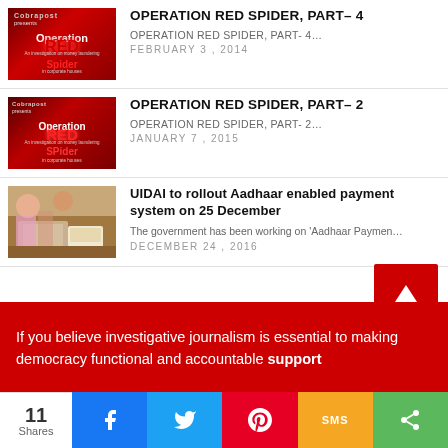[Figure (screenshot): Thumbnail image for Operation Red Spider Part 4 article - dark red background with logo and text]
OPERATION RED SPIDER, PART– 4
OPERATION RED SPIDER, PART- 4…
FEBRUARY 3, 2014
[Figure (screenshot): Thumbnail image for Operation Red Spider Part 2 article - dark red background with logo and text]
OPERATION RED SPIDER, PART– 2
OPERATION RED SPIDER, PART- 2…
JANUARY 7, 2015
[Figure (photo): Photo of a person using a payment device/tablet on a table]
UIDAI to rollout Aadhaar enabled payment system on 25 December
The government has been working on 'Aadhaar Paymen…
DECEMBER 24, 2016
If you believe investigative journalism is essential to making democracy functional and accountable support
11 Shares